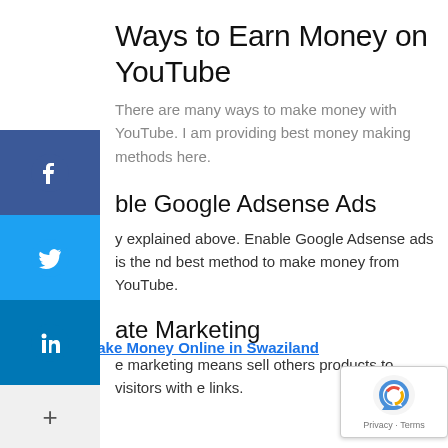Ways to Earn Money on YouTube
There are many ways to make money with YouTube. I am providing best money making methods here.
ble Google Adsense Ads
y explained above. Enable Google Adsense ads is the nd best method to make money from YouTube.
ate Marketing
e marketing means sell others products to visitors with e links.
RELATED:  Make Money Online in Swaziland
For example,